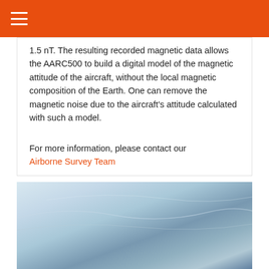1.5 nT. The resulting recorded magnetic data allows the AARC500 to build a digital model of the magnetic attitude of the aircraft, without the local magnetic composition of the Earth. One can remove the magnetic noise due to the aircraft's attitude calculated with such a model.
For more information, please contact our Airborne Survey Team
[Figure (photo): Aerial photograph showing sky and possibly aircraft wing or clouds, in blue and grey tones]